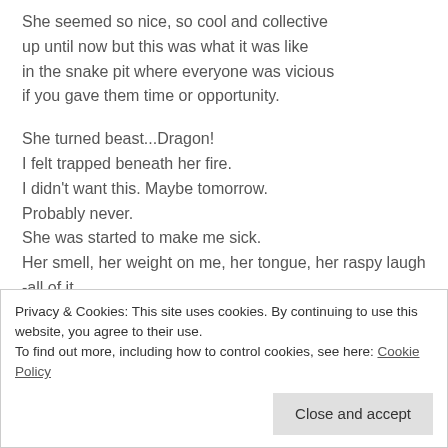She seemed so nice, so cool and collective up until now but this was what it was like in the snake pit where everyone was vicious if you gave them time or opportunity.
She turned beast...Dragon!
I felt trapped beneath her fire.
I didn't want this. Maybe tomorrow.
Probably never.
She was started to make me sick.
Her smell, her weight on me, her tongue, her raspy laugh -all of it
Privacy & Cookies: This site uses cookies. By continuing to use this website, you agree to their use.
To find out more, including how to control cookies, see here: Cookie Policy

Close and accept